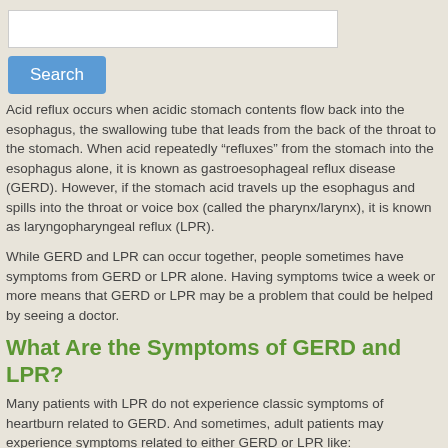[Figure (screenshot): Search input box (white rectangle) and a blue Search button below it]
Acid reflux occurs when acidic stomach contents flow back into the esophagus, the swallowing tube that leads from the back of the throat to the stomach. When acid repeatedly “refluxes” from the stomach into the esophagus alone, it is known as gastroesophageal reflux disease (GERD). However, if the stomach acid travels up the esophagus and spills into the throat or voice box (called the pharynx/larynx), it is known as laryngopharyngeal reflux (LPR).
While GERD and LPR can occur together, people sometimes have symptoms from GERD or LPR alone. Having symptoms twice a week or more means that GERD or LPR may be a problem that could be helped by seeing a doctor.
What Are the Symptoms of GERD and LPR?
Many patients with LPR do not experience classic symptoms of heartburn related to GERD. And sometimes, adult patients may experience symptoms related to either GERD or LPR like: